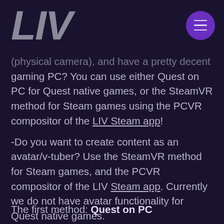LIV
(physical camera), and have a pretty decent gaming PC? You can use either Quest on PC for Quest native games, or the SteamVR method for Steam games using the PCVR compositor of the LIV Steam app!
-Do you want to create content as an avatar/v-tuber? Use the SteamVR method for Steam games, and the PCVR compositor of the LIV Steam app. Currently we do not have avatar functionality for Quest native games.
The first method: Quest on PC